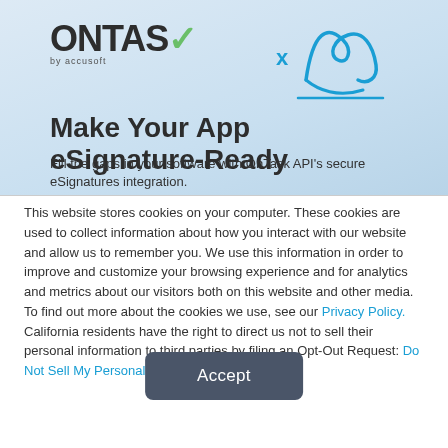[Figure (logo): OnTask by Accusoft logo with a teal checkmark, alongside a decorative cursive signature graphic with an X mark, on a light blue gradient banner background]
Make Your App eSignature-Ready
Fill the gaps in your software with OnTask API's secure eSignatures integration.
This website stores cookies on your computer. These cookies are used to collect information about how you interact with our website and allow us to remember you. We use this information in order to improve and customize your browsing experience and for analytics and metrics about our visitors both on this website and other media. To find out more about the cookies we use, see our Privacy Policy. California residents have the right to direct us not to sell their personal information to third parties by filing an Opt-Out Request: Do Not Sell My Personal Info.
Accept